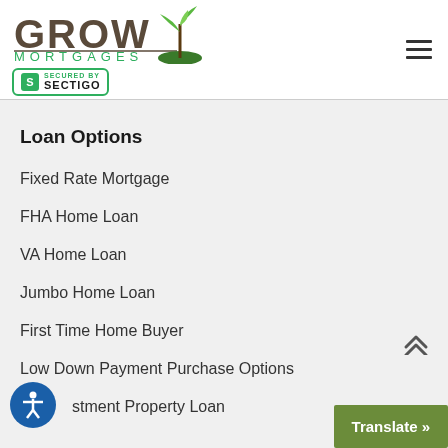[Figure (logo): Grow Mortgages logo with plant/tree graphic and green text, plus Sectigo SSL badge below]
Loan Options
Fixed Rate Mortgage
FHA Home Loan
VA Home Loan
Jumbo Home Loan
First Time Home Buyer
Low Down Payment Purchase Options
Investment Property Loan